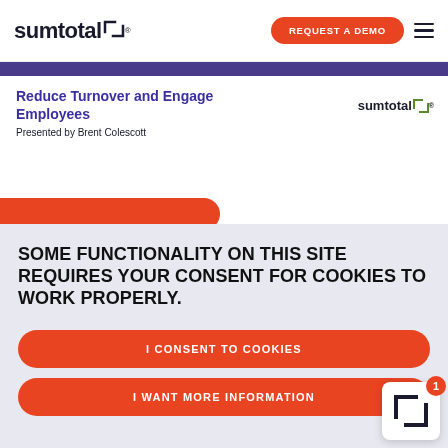sumtotal | REQUEST A DEMO
Reduce Turnover and Engage Employees
Presented by Brent Colescott
SOME FUNCTIONALITY ON THIS SITE REQUIRES YOUR CONSENT FOR COOKIES TO WORK PROPERLY.
I CONSENT TO COOKIES
I WANT MORE INFORMATION